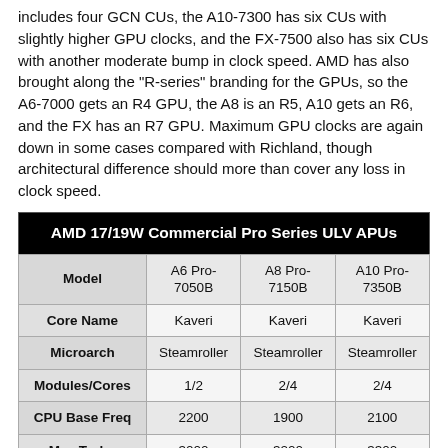includes four GCN CUs, the A10-7300 has six CUs with slightly higher GPU clocks, and the FX-7500 also has six CUs with another moderate bump in clock speed. AMD has also brought along the "R-series" branding for the GPUs, so the A6-7000 gets an R4 GPU, the A8 is an R5, A10 gets an R6, and the FX has an R7 GPU. Maximum GPU clocks are again down in some cases compared with Richland, though architectural difference should more than cover any loss in clock speed.
| AMD 17/19W Commercial Pro Series ULV APUs | A6 Pro-7050B | A8 Pro-7150B | A10 Pro-7350B |
| --- | --- | --- | --- |
| Model | A6 Pro-7050B | A8 Pro-7150B | A10 Pro-7350B |
| Core Name | Kaveri | Kaveri | Kaveri |
| Microarch | Steamroller | Steamroller | Steamroller |
| Modules/Cores | 1/2 | 2/4 | 2/4 |
| CPU Base Freq | 2200 | 1900 | 2100 |
| Max Turbo | 3000 | 3200 | 3300 |
| TDP | 17W | 19W | 19W |